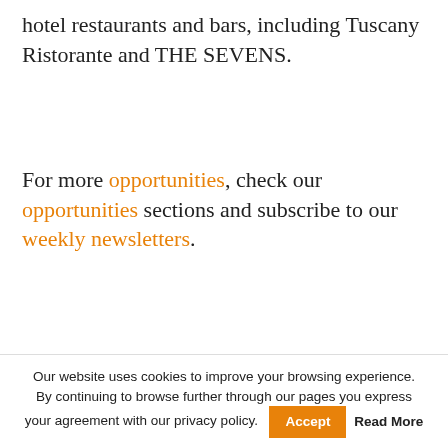hotel restaurants and bars, including Tuscany Ristorante and THE SEVENS.
For more opportunities, check our opportunities sections and subscribe to our weekly newsletters.
TAGS: ALPHA · ALPHA GAMMA · ALPHAGAMMA · ALPHAGAMMA BUSINESS PORTAL FOR YOUNG PROFESSIONALS · ALPHAGAMMA.EU · ALPHAGAMMA.EU BUSINESS PORTAL FOR YOUNG PROFESSIONALS · BUSINESS PORTAL FOR YOUNG PROFESSIONALS · CONFERENCE · EUROPE · GAMMA · HR · HR CONFERENCE · HR TECH · HR TECH EUROPE · HR TECH TRENDS · HUMAN RESOURCE · HUMAN RESOURCES · INNOVATION · KIMA MAYES · MILLENNIALS · OPPORTUNITIES · OPPORTUNITY · RETHINK! · RETHINK! HR TECH EUROPE · RETHINK! HR TECH EUROPE 2017
Our website uses cookies to improve your browsing experience. By continuing to browse further through our pages you express your agreement with our privacy policy. Accept Read More